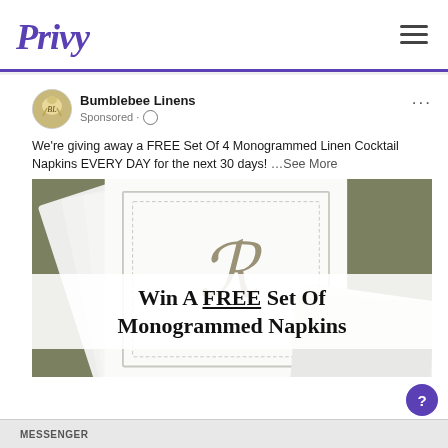Privy
Bumblebee Linens
Sponsored ·
We're giving away a FREE Set Of 4 Monogrammed Linen Cocktail Napkins EVERY DAY for the next 30 days! ...See More
[Figure (photo): Stack of white monogrammed linen cocktail napkins with a cursive 'R' monogram on an olive/taupe background, with overlay text 'Win A FREE Set Of Monogrammed Napkins']
MESSENGER